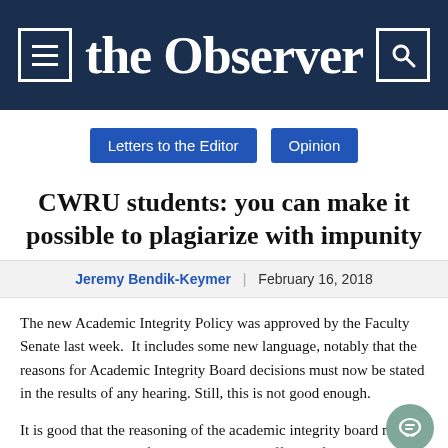the Observer
Letters to the Editor
Opinion
CWRU students: you can make it possible to plagiarize with impunity
Jeremy Bendik-Keymer | February 16, 2018
The new Academic Integrity Policy was approved by the Faculty Senate last week. It includes some new language, notably that the reasons for Academic Integrity Board decisions must now be stated in the results of any hearing. Still, this is not good enough.
It is good that the reasoning of the academic integrity board must now be reported pro forma, but it is not sufficient for transparency and accountability that the reasoning merely be reported. It must also be good